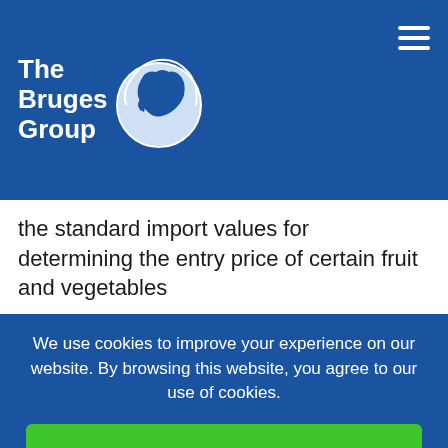The Bruges Group
the standard import values for determining the entry price of certain fruit and vegetables
Each time the anti-democratic EU legislative process passes a law, a new cost is added onto British businesses. As members of the European Union there is nothing that our own democratic process can do to overturn those
We use cookies to improve your experience on our website. By browsing this website, you agree to our use of cookies.
Ok, I've understood!
Decline